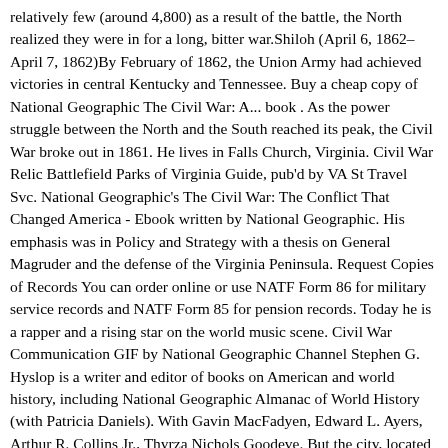relatively few (around 4,800) as a result of the battle, the North realized they were in for a long, bitter war.Shiloh (April 6, 1862–April 7, 1862)By February of 1862, the Union Army had achieved victories in central Kentucky and Tennessee. Buy a cheap copy of National Geographic The Civil War: A... book . As the power struggle between the North and the South reached its peak, the Civil War broke out in 1861. He lives in Falls Church, Virginia. Civil War Relic Battlefield Parks of Virginia Guide, pub'd by VA St Travel Svc. National Geographic's The Civil War: The Conflict That Changed America - Ebook written by National Geographic. His emphasis was in Policy and Strategy with a thesis on General Magruder and the defense of the Virginia Peninsula. Request Copies of Records You can order online or use NATF Form 86 for military service records and NATF Form 85 for pension records. Today he is a rapper and a rising star on the world music scene. Civil War Communication GIF by National Geographic Channel Stephen G. Hyslop is a writer and editor of books on American and world history, including National Geographic Almanac of World History (with Patricia Daniels). With Gavin MacFadyen, Edward L. Ayers, Arthur R. Collins Jr., Thyrza Nichols Goodeve. But the city, located on a bluff overlooking the river, was heavily defended, with trenches, gun batteries, and a Confederate Army led by General John C. Pemberton.In May, Union General Ulysses S. Grant led an army south on the west side of the Mississippi past Vicksburg, then crossed over and led his troops back north to lay